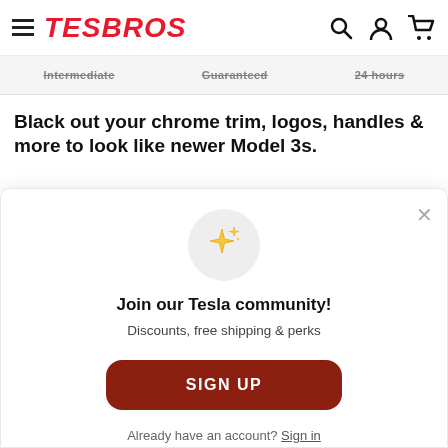TESBROS
Intermediate   Guaranteed   24 hours
Black out your chrome trim, logos, handles & more to look like newer Model 3s.
[Figure (illustration): Sparkle/stars icon in a light grey circle]
Join our Tesla community!
Discounts, free shipping & perks
SIGN UP
Already have an account? Sign in